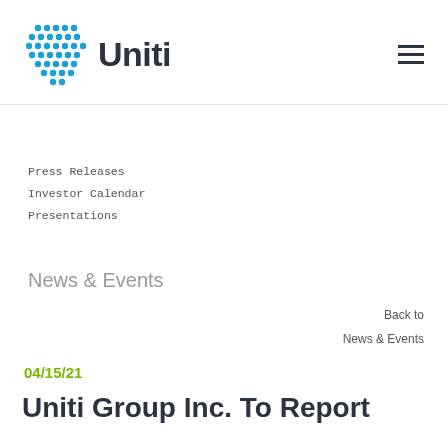[Figure (logo): Uniti Group logo with blue dot grid pattern and dark text 'Uniti']
Press Releases
Investor Calendar
Presentations
News & Events
Back to
News & Events
04/15/21
Uniti Group Inc. To Report